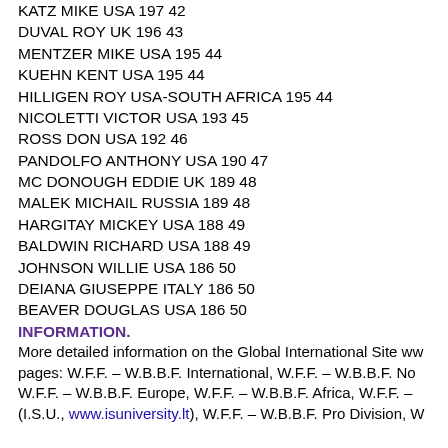KATZ MIKE USA 197 42
DUVAL ROY UK 196 43
MENTZER MIKE USA 195 44
KUEHN KENT USA 195 44
HILLIGEN ROY USA-SOUTH AFRICA 195 44
NICOLETTI VICTOR USA 193 45
ROSS DON USA 192 46
PANDOLFO ANTHONY USA 190 47
MC DONOUGH EDDIE UK 189 48
MALEK MICHAIL RUSSIA 189 48
HARGITAY MICKEY USA 188 49
BALDWIN RICHARD USA 188 49
JOHNSON WILLIE USA 186 50
DEIANA GIUSEPPE ITALY 186 50
BEAVER DOUGLAS USA 186 50
INFORMATION.
More detailed information on the Global International Site ww pages: W.F.F. – W.B.B.F. International, W.F.F. – W.B.B.F. No W.F.F. – W.B.B.F. Europe, W.F.F. – W.B.B.F. Africa, W.F.F. – (I.S.U., www.isuniversity.lt), W.F.F. – W.B.B.F. Pro Division, W